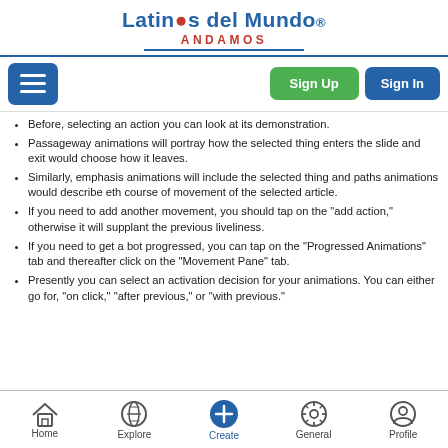Latinos del Mundo · ANDAMOS
Before, selecting an action you can look at its demonstration.
Passageway animations will portray how the selected thing enters the slide and exit would choose how it leaves.
Similarly, emphasis animations will include the selected thing and paths animations would describe eth course of movement of the selected article.
If you need to add another movement, you should tap on the "add action," otherwise it will supplant the previous liveliness.
If you need to get a bot progressed, you can tap on the "Progressed Animations" tab and thereafter click on the "Movement Pane" tab.
Presently you can select an activation decision for your animations. You can either go for, "on click," "after previous," or "with previous."
Home  Explore  Create  General  Profile